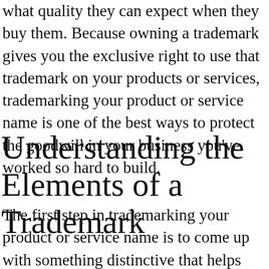what quality they can expect when they buy them. Because owning a trademark gives you the exclusive right to use that trademark on your products or services, trademarking your product or service name is one of the best ways to protect the goodwill in your business you've worked so hard to build.
Understanding the Elements of a Trademark
The first step in trademarking your product or service name is to come up with something distinctive that helps sets your product or service apart from others. Understanding what items can be a trademark will help